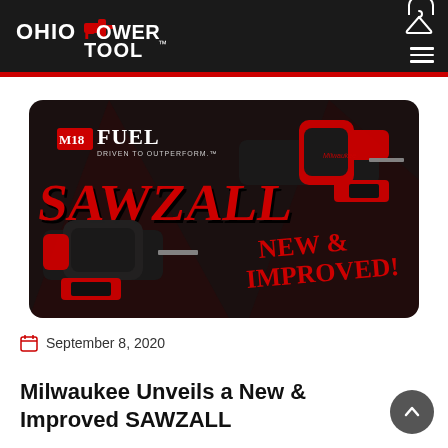Ohio Power Tool
[Figure (photo): Milwaukee M18 FUEL Sawzall promotional image showing two reciprocating saws on a dark background with bold red text reading 'SAWZALL' and 'NEW & IMPROVED!']
September 8, 2020
Milwaukee Unveils a New & Improved SAWZALL